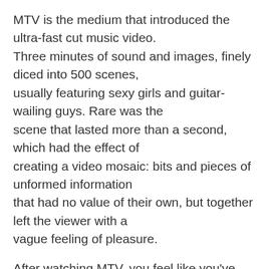MTV is the medium that introduced the ultra-fast cut music video.
Three minutes of sound and images, finely diced into 500 scenes,
usually featuring sexy girls and guitar-wailing guys. Rare was the
scene that lasted more than a second, which had the effect of
creating a video mosaic: bits and pieces of unformed information
that had no value of their own, but together left the viewer with a
vague feeling of pleasure.
After watching MTV, you feel like you've been hit by a bus: you know
something has happened, but you're left dazed, unaware of how much
time has passed.
An entire generation has grown up with MTV. The same